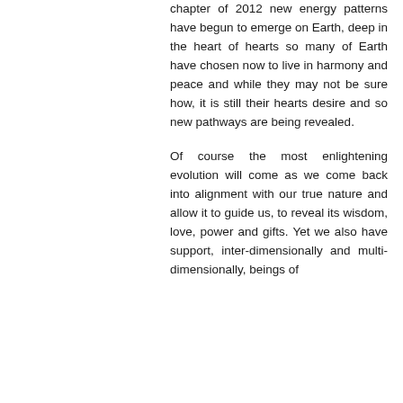chapter of 2012 new energy patterns have begun to emerge on Earth, deep in the heart of hearts so many of Earth have chosen now to live in harmony and peace and while they may not be sure how, it is still their hearts desire and so new pathways are being revealed.
Of course the most enlightening evolution will come as we come back into alignment with our true nature and allow it to guide us, to reveal its wisdom, love, power and gifts. Yet we also have support, inter-dimensionally and multi-dimensionally, beings of